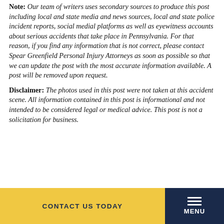Note: Our team of writers uses secondary sources to produce this post including local and state media and news sources, local and state police incident reports, social medial platforms as well as eyewitness accounts about serious accidents that take place in Pennsylvania. For that reason, if you find any information that is not correct, please contact Spear Greenfield Personal Injury Attorneys as soon as possible so that we can update the post with the most accurate information available. A post will be removed upon request.
Disclaimer: The photos used in this post were not taken at this accident scene. All information contained in this post is informational and not intended to be considered legal or medical advice. This post is not a solicitation for business.
CONTACT US TODAY